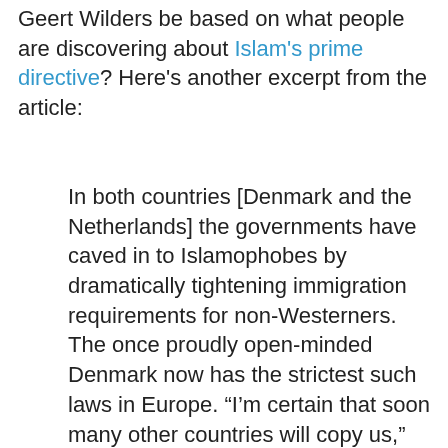Geert Wilders be based on what people are discovering about Islam's prime directive? Here's another excerpt from the article:
In both countries [Denmark and the Netherlands] the governments have caved in to Islamophobes by dramatically tightening immigration requirements for non-Westerners. The once proudly open-minded Denmark now has the strictest such laws in Europe. “I’m certain that soon many other countries will copy us,” boasted the People’s Party after the November passage of a law it co-wrote. The opposition Social Democrats, though fiercely split on